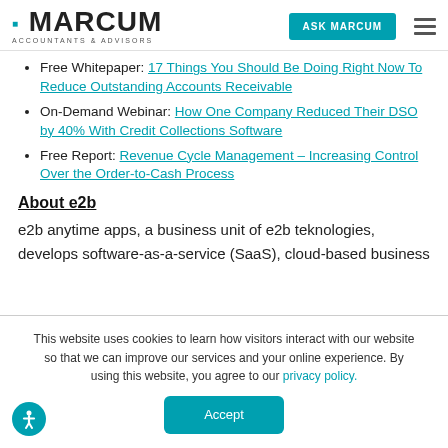MARCUM ACCOUNTANTS & ADVISORS | ASK MARCUM
Free Whitepaper: 17 Things You Should Be Doing Right Now To Reduce Outstanding Accounts Receivable
On-Demand Webinar: How One Company Reduced Their DSO by 40% With Credit Collections Software
Free Report: Revenue Cycle Management – Increasing Control Over the Order-to-Cash Process
About e2b
e2b anytime apps, a business unit of e2b teknologies, develops software-as-a-service (SaaS), cloud-based business
This website uses cookies to learn how visitors interact with our website so that we can improve our services and your online experience. By using this website, you agree to our privacy policy.
Accept